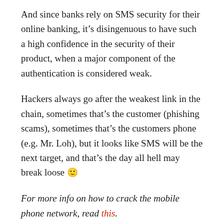And since banks rely on SMS security for their online banking, it’s disingenuous to have such a high confidence in the security of their product, when a major component of the authentication is considered weak.
Hackers always go after the weakest link in the chain, sometimes that’s the customer (phishing scams), sometimes that’s the customers phone (e.g. Mr. Loh), but it looks like SMS will be the next target, and that’s the day all hell may break loose 🙂
For more info on how to crack the mobile phone network, read this.